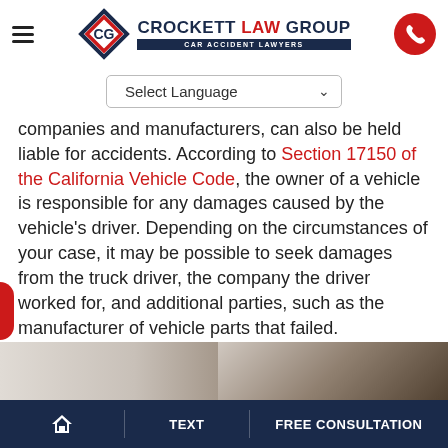Crockett Law Group - Car Accident Lawyers
Select Language
companies and manufacturers, can also be held liable for accidents. According to Section 17150 of the California Vehicle Code, the owner of a vehicle is responsible for any damages caused by the vehicle's driver. Depending on the circumstances of your case, it may be possible to seek damages from the truck driver, the company the driver worked for, and additional parties, such as the manufacturer of vehicle parts that failed.
[Figure (photo): Partial photo visible at bottom of page, appears to show dark mechanical or vehicle parts]
HOME | TEXT | FREE CONSULTATION